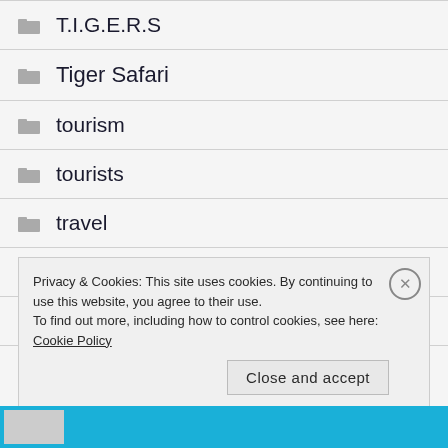T.I.G.E.R.S
Tiger Safari
tourism
tourists
travel
true facts
turtle
Privacy & Cookies: This site uses cookies. By continuing to use this website, you agree to their use.
To find out more, including how to control cookies, see here: Cookie Policy
Close and accept